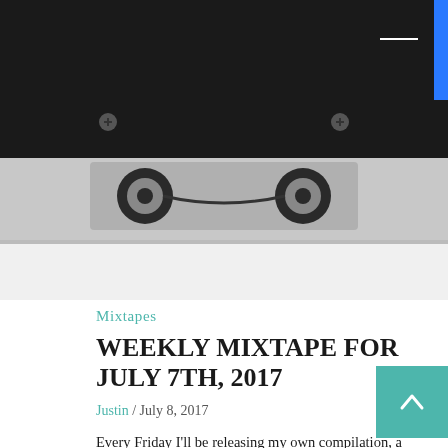[Figure (photo): Black and white close-up photograph of a cassette tape mechanism, showing reels, screws, and metal components against a white/gray background.]
Mixtapes
WEEKLY MIXTAPE FOR JULY 7TH, 2017
Justin / July 8, 2017
Every Friday I'll be releasing my own compilation, a mixtape if you will, of blog posts from the week I think are worth your time. I hope your holiday weekend and shortened work week were great! had a blast for the 4th (pun intended!); we went to the small town in Western Pennsylvania where the majority of my...